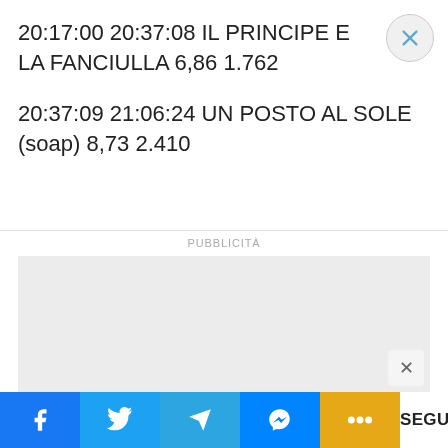20:17:00 20:37:08 IL PRINCIPE E LA FANCIULLA 6,86 1.762
20:37:09 21:06:24 UN POSTO AL SOLE (soap) 8,73 2.410
PUBBLICITÀ
[Figure (other): Advertisement placeholder area (gray box)]
Facebook | Twitter | Telegram | Messenger | ... | SEGUENTE >